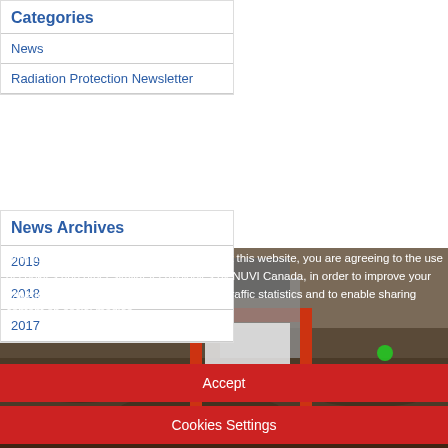Categories
News
Radiation Protection Newsletter
News Archives
2019
2018
2017
[Figure (photo): Construction/mining equipment photo showing machinery with red steel frame structure, excavator bucket, gravel ground background]
With full transparency... By continuing to visit this website, you are agreeing to the use of cookies and other similar technologies by NUVI Canada, in order to improve your experience on our site, to enable gathering traffic statistics and to enable sharing content on social medias.
Accept
Cookies Settings